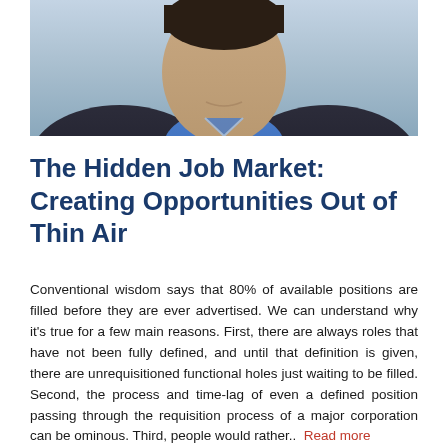[Figure (photo): Headshot photo of a man wearing a blue shirt and dark jacket, smiling slightly, photographed from below the chin up, blurred background.]
The Hidden Job Market: Creating Opportunities Out of Thin Air
Conventional wisdom says that 80% of available positions are filled before they are ever advertised. We can understand why it's true for a few main reasons. First, there are always roles that have not been fully defined, and until that definition is given, there are unrequisitioned functional holes just waiting to be filled. Second, the process and time-lag of even a defined position passing through the requisition process of a major corporation can be ominous. Third, people would rather..  Read more